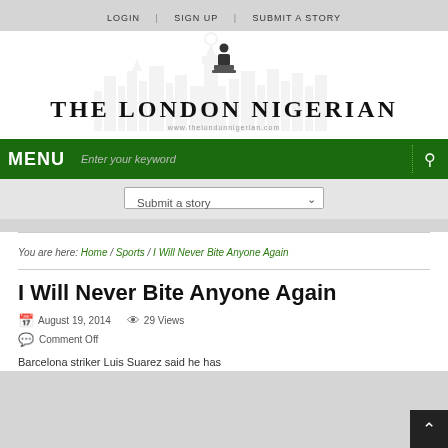LOGIN   SIGN UP   SUBMIT A STORY
[Figure (logo): The London Nigerian newspaper logo with silhouette of person at podium and city skyline watermark. Text: THE LONDON NIGERIAN, www.thelondonnigerian.com]
MENU  Enter your keyword
Submit a story
You are here: Home / Sports / I Will Never Bite Anyone Again
I Will Never Bite Anyone Again
August 19, 2014   29 Views
Comment Off
Barcelona striker Luis Suarez said he has